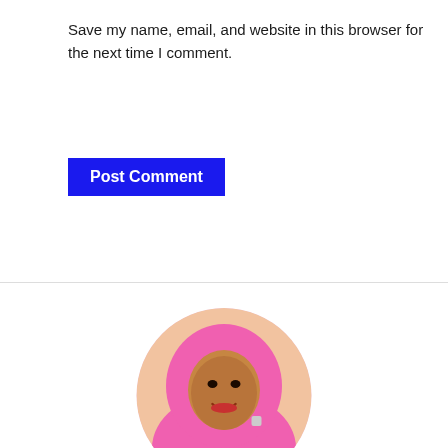Save my name, email, and website in this browser for the next time I comment.
Post Comment
[Figure (photo): Circular portrait photo of Rofiat Babatunde wearing a pink hijab and pink top, with hands clasped together]
Rofiat Babatunde
Rofiat Babatunde is a Personal Development Coach and Business Consultant. She is a certified and professional